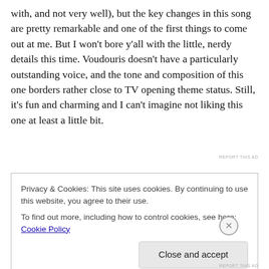with, and not very well), but the key changes in this song are pretty remarkable and one of the first things to come out at me. But I won't bore y'all with the little, nerdy details this time. Voudouris doesn't have a particularly outstanding voice, and the tone and composition of this one borders rather close to TV opening theme status. Still, it's fun and charming and I can't imagine not liking this one at least a little bit.
REPORT THIS AD
Privacy & Cookies: This site uses cookies. By continuing to use this website, you agree to their use.
To find out more, including how to control cookies, see here: Cookie Policy
Close and accept
REPORT THIS AD